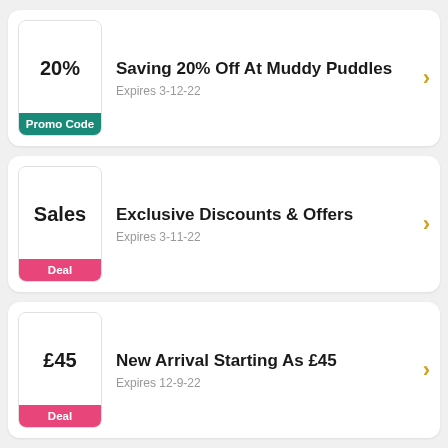20% Promo Code — Saving 20% Off At Muddy Puddles — Expires 3-12-22
Sales Deal — Exclusive Discounts & Offers — Expires 3-11-22
£45 Deal — New Arrival Starting As £45 — Expires 12-9-22